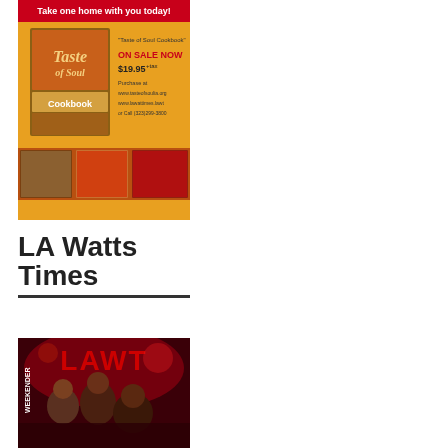[Figure (illustration): Advertisement for 'Taste of Soul Cookbook' showing cookbook cover with food images, text 'Take one home with you today!', 'ON SALE NOW', '$19.95 +tax', 'Purchase at www.tasteofsoulia.org www.lawattimes.lawt or Call (323)299-3800', and food photos at bottom on orange background]
LA Watts Times
[Figure (photo): Magazine cover of LAWT (LA Watts Times) Weekender edition showing three people posing at what appears to be a party/event with red lighting]